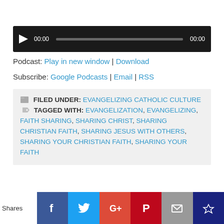[Figure (other): Audio player widget with dark background, play button, time display 00:00, progress bar, and end time 00:00]
Podcast: Play in new window | Download
Subscribe: Google Podcasts | Email | RSS
FILED UNDER: EVANGELIZING CATHOLIC CULTURE   TAGGED WITH: EVANGELIZATION, EVANGELIZING, FAITH SHARING, SHARING CHRIST, SHARING CHRISTIAN FAITH, SHARING JESUS WITH OTHERS, SHARING YOUR CHRISTIAN FAITH, SHARING YOUR FAITH
[Figure (other): Social sharing bar with Shares label and buttons: Facebook, Twitter, Google+, Pinterest, Email, and a crown/bookmark icon]